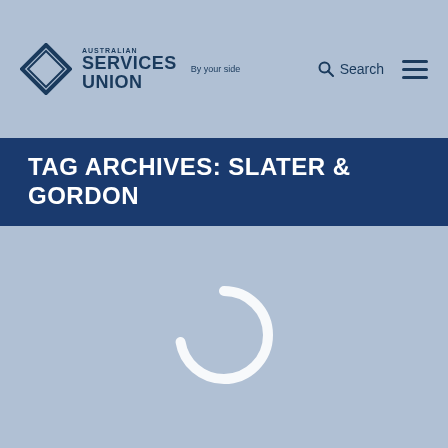Australian Services Union — By your side | Search | Menu
TAG ARCHIVES: SLATER & GORDON
[Figure (other): Loading spinner — circular arc indicating page content is loading]